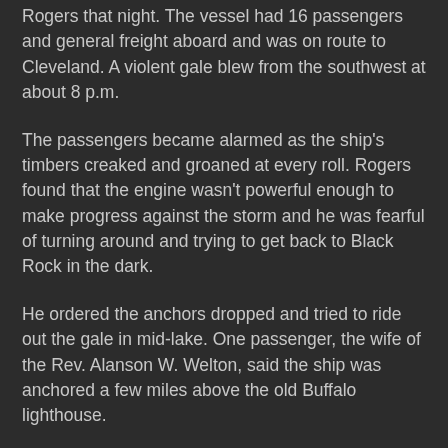Rogers that night. The vessel had 16 passengers and general freight aboard and was on route to Cleveland. A violent gale blew from the southwest at about 8 p.m.
The passengers became alarmed as the ship's timbers creaked and groaned at every roll. Rogers found that the engine wasn't powerful enough to make progress against the storm and he was fearful of turning around and trying to get back to Black Rock in the dark.
He ordered the anchors dropped and tried to ride out the gale in mid-lake. One passenger, the wife of the Rev. Alanson W. Welton, said the ship was anchored a few miles above the old Buffalo lighthouse.
As the night went on, the storm increased in fury, the hull began to leak, and the anchors dragged.